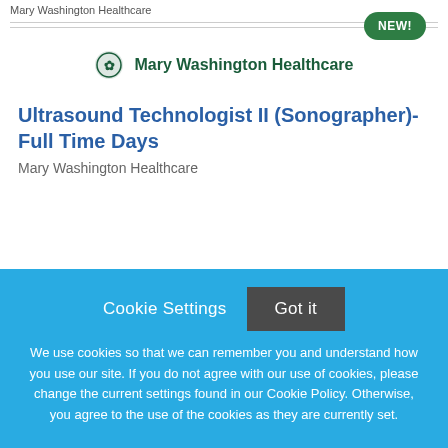Mary Washington Healthcare
[Figure (logo): Mary Washington Healthcare logo with green emblem and text]
Ultrasound Technologist II (Sonographer)-Full Time Days
Mary Washington Healthcare
We use cookies so that we can remember you and understand how you use our site. If you do not agree with our use of cookies, please change the current settings found in our Cookie Policy. Otherwise, you agree to the use of the cookies as they are currently set.